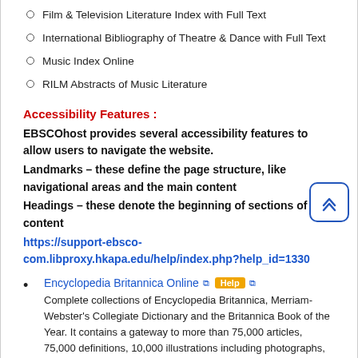Film & Television Literature Index with Full Text
International Bibliography of Theatre & Dance with Full Text
Music Index Online
RILM Abstracts of Music Literature
Accessibility Features :
EBSCOhost provides several accessibility features to allow users to navigate the website.
Landmarks – these define the page structure, like navigational areas and the main content
Headings – these denote the beginning of sections of content
https://support-ebsco-com.libproxy.hkapa.edu/help/index.php?help_id=1330
Encyclopedia Britannica Online [external link] Help [external link]
Complete collections of Encyclopedia Britannica, Merriam-Webster's Collegiate Dictionary and the Britannica Book of the Year. It contains a gateway to more than 75,000 articles, 75,000 definitions, 10,000 illustrations including photographs, drawings, maps and flags and 166,000 links to web sites.